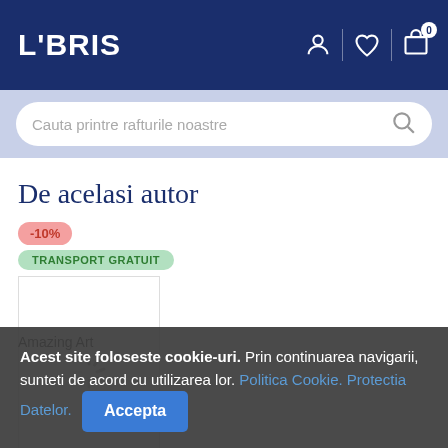LIBRIS
De acelasi autor
-10%
TRANSPORT GRATUIT
[Figure (illustration): Book cover placeholder with loading spinner]
Amazing Art
Acest site foloseste cookie-uri. Prin continuarea navigarii, sunteti de acord cu utilizarea lor. Politica Cookie. Protectia Datelor. Accepta